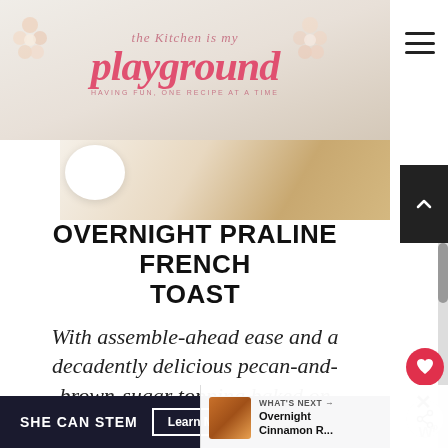the Kitchen is my playground
[Figure (photo): Food photo strip showing a white plate/bowl on wooden surface]
OVERNIGHT PRALINE FRENCH TOAST
With assemble-ahead ease and a decadently delicious pecan-and-brown-sugar topping baked on top, this Overnight Praline French Toast perfect holiday brunch or breakfast
[Figure (photo): Thumbnail of Overnight Cinnamon Roll recipe]
WHAT'S NEXT → Overnight Cinnamon R...
SHE CAN STEM  Learn More